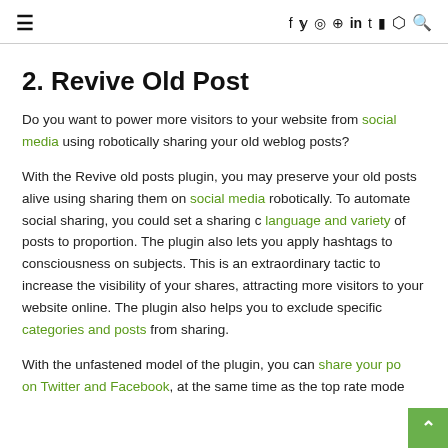≡  f  𝕏  🅸  𝗣  in  t  ▶  👻  🔍
2. Revive Old Post
Do you want to power more visitors to your website from social media using robotically sharing your old weblog posts?
With the Revive old posts plugin, you may preserve your old posts alive using sharing them on social media robotically. To automate social sharing, you could set a sharing c language and variety of posts to proportion. The plugin also lets you apply hashtags to consciousness on subjects. This is an extraordinary tactic to increase the visibility of your shares, attracting more visitors to your website online. The plugin also helps you to exclude specific categories and posts from sharing.
With the unfastened model of the plugin, you can share your po on Twitter and Facebook, at the same time as the top rate mode